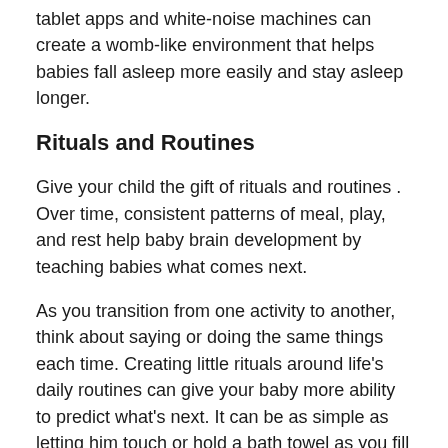tablet apps and white-noise machines can create a womb-like environment that helps babies fall asleep more easily and stay asleep longer.
Rituals and Routines
Give your child the gift of rituals and routines . Over time, consistent patterns of meal, play, and rest help baby brain development by teaching babies what comes next.
As you transition from one activity to another, think about saying or doing the same things each time. Creating little rituals around life's daily routines can give your baby more ability to predict what's next. It can be as simple as letting him touch or hold a bath towel as you fill the bathtub or pausing to stretch up to the sky before sitting down to play.
Whether you cuddle in a rocking chair, turn the lights low together, or tell a story, bedtime rituals can be especially